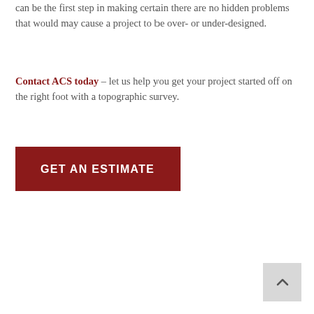can be the first step in making certain there are no hidden problems that would may cause a project to be over- or under-designed.
Contact ACS today – let us help you get your project started off on the right foot with a topographic survey.
GET AN ESTIMATE